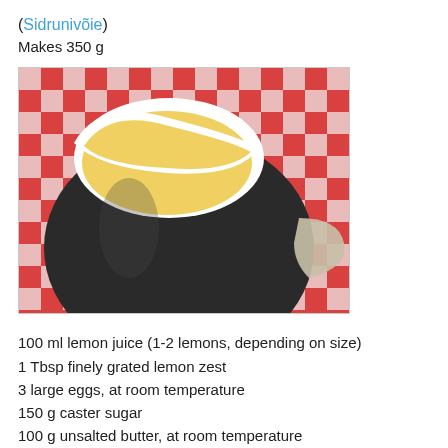(Sidrunivõie)
Makes 350 g
[Figure (photo): Photo of a dark ceramic gravy boat or sauce pitcher filled with yellow lemon curd, sitting on a red and white checkered cloth.]
100 ml lemon juice (1-2 lemons, depending on size)
1 Tbsp finely grated lemon zest
3 large eggs, at room temperature
150 g caster sugar
100 g unsalted butter, at room temperature
If you're not using organic and unwaxed lemons, then wash them thoroughly with hot water. Juice and zest the lemons.